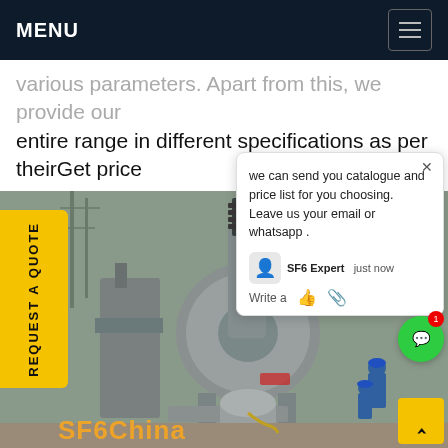MENU
various parameters. Apart from this, we provide our entire range in different specifications as per theirGet price
[Figure (photo): Electrical substation equipment (SF6 circuit breaker or disconnect switch) mounted on metal frame, industrial outdoor setting. Workers in blue uniforms visible in background. Power transmission towers visible.]
REQUEST A QUOTE
we can send you catalogue and price list for you choosing.
Leave us your email or whatsapp .
SF6 Expert    just now
Write a
SF6China